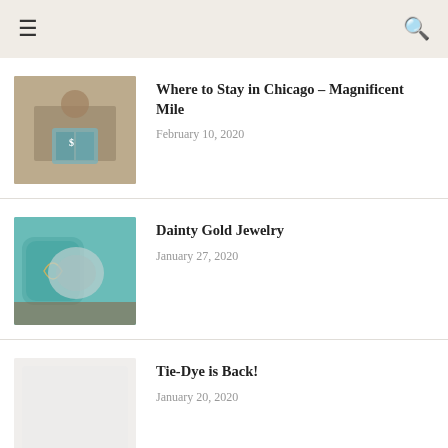☰ [hamburger menu] | [search icon]
Where to Stay in Chicago – Magnificent Mile
February 10, 2020
Dainty Gold Jewelry
January 27, 2020
Tie-Dye is Back!
January 20, 2020
Amazon PRIME Dress under $20 for the Holidays